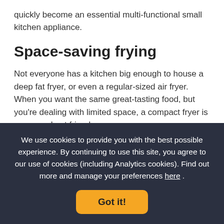quickly become an essential multi-functional small kitchen appliance.
Space-saving frying
Not everyone has a kitchen big enough to house a deep fat fryer, or even a regular-sized air fryer. When you want the same great-tasting food, but you're dealing with limited space, a compact fryer is your new best friend.
The Lakeland Digital Compact Air Fryer cooks crispy golden fries (and more) with barely a drop of oil and
We use cookies to provide you with the best possible experience. By continuing to use this site, you agree to our use of cookies (including Analytics cookies). Find out more and manage your preferences here .
Got it!